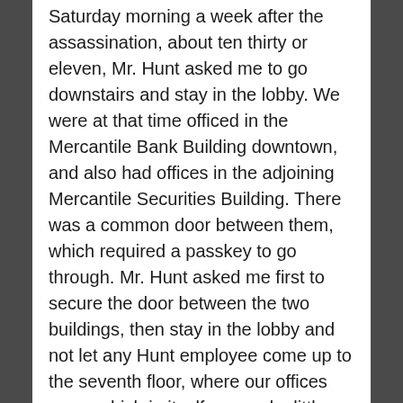Saturday morning a week after the assassination, about ten thirty or eleven, Mr. Hunt asked me to go downstairs and stay in the lobby. We were at that time officed in the Mercantile Bank Building downtown, and also had offices in the adjoining Mercantile Securities Building. There was a common door between them, which required a passkey to go through. Mr. Hunt asked me first to secure the door between the two buildings, then stay in the lobby and not let any Hunt employee come up to the seventh floor, where our offices were, which in itself seemed a little unusual of a request. Mr. Hunt said he would come down and get me when he got through with what he was doing.  I hung around there for fifteen or twenty minutes and